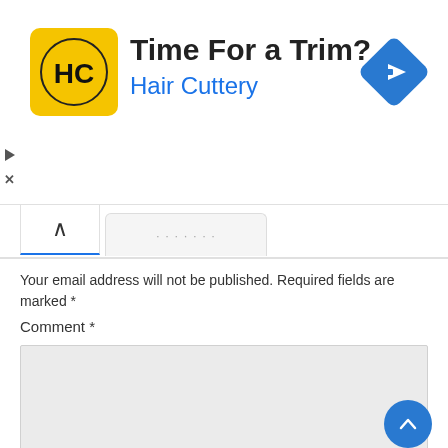[Figure (screenshot): Hair Cuttery advertisement banner with yellow logo showing HC initials, headline 'Time For a Trim?', brand name 'Hair Cuttery' in blue, and a blue navigation diamond icon on the right.]
Your email address will not be published. Required fields are marked *
Comment *
Name *